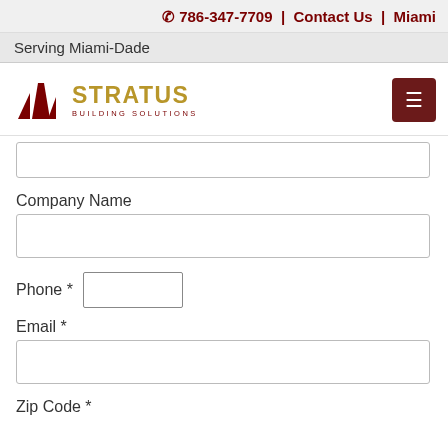☎ 786-347-7709 | Contact Us | Miami
Serving Miami-Dade
[Figure (logo): Stratus Building Solutions logo with building silhouette icon in dark red and gold text]
Company Name
Phone *
Email *
Zip Code *